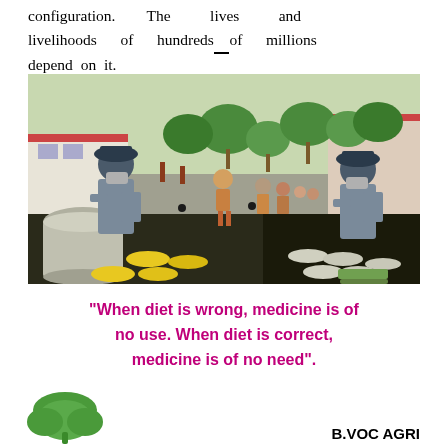configuration. The lives and livelihoods of hundreds of millions depend on it.
[Figure (photo): Outdoor scene showing two police officers wearing masks and blue uniforms distributing food on a dark table with yellow and silver plates. A child stands in the middle of the road with a queue of people in the background on a tree-lined street. A large silver cooking pot is visible on the left side of the table.]
"When diet is wrong, medicine is of no use. When diet is correct, medicine is of no need".
[Figure (illustration): Green leaf/plant illustration at bottom left]
B.VOC AGRI